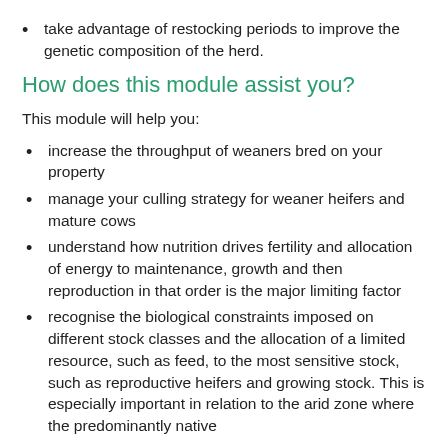take advantage of restocking periods to improve the genetic composition of the herd.
How does this module assist you?
This module will help you:
increase the throughput of weaners bred on your property
manage your culling strategy for weaner heifers and mature cows
understand how nutrition drives fertility and allocation of energy to maintenance, growth and then reproduction in that order is the major limiting factor
recognise the biological constraints imposed on different stock classes and the allocation of a limited resource, such as feed, to the most sensitive stock, such as reproductive heifers and growing stock. This is especially important in relation to the arid zone where the predominantly native